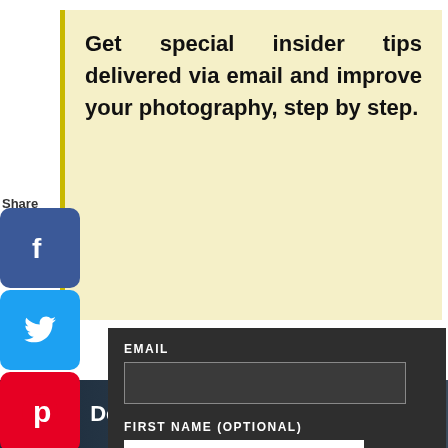Get special insider tips delivered via email and improve your photography, step by step.
Share
[Figure (infographic): Social media share buttons sidebar: Facebook, Twitter, Pinterest, Tumblr, Reddit, WhatsApp, Messenger]
EMAIL
FIRST NAME (OPTIONAL)
I AM AT LEAST 16 YEARS OF AGE.
[Figure (screenshot): Download Helbiz and ride advertisement banner]